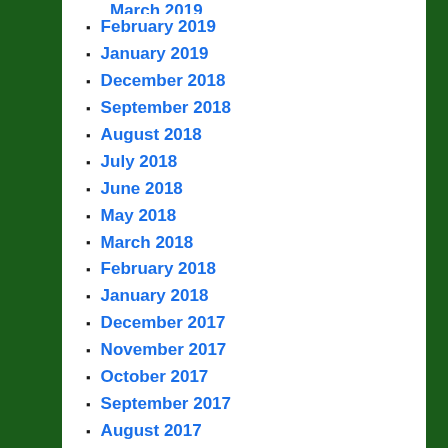March 2019 (partial)
February 2019
January 2019
December 2018
September 2018
August 2018
July 2018
June 2018
May 2018
March 2018
February 2018
January 2018
December 2017
November 2017
October 2017
September 2017
August 2017
July 2017
June 2017
May 2017
March 2017
January 2017